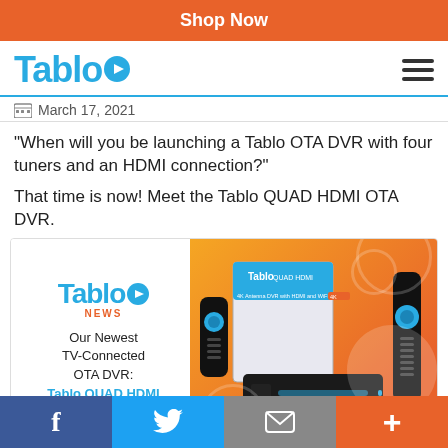Shop Now
[Figure (logo): Tablo logo with blue play button icon and hamburger menu]
March 17, 2021
"When will you be launching a Tablo OTA DVR with four tuners and an HDMI connection?"
That time is now! Meet the Tablo QUAD HDMI OTA DVR.
[Figure (photo): Tablo NEWS product announcement image showing Tablo logo, NEWS text, 'Our Newest TV-Connected OTA DVR: Tablo QUAD HDMI' text, and product box with remote and device on orange background]
f  Twitter  Email  +